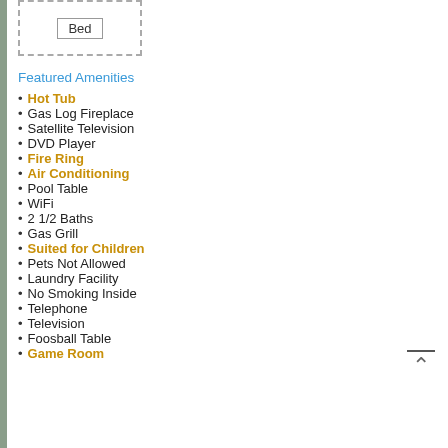[Figure (schematic): Dashed rectangle box containing a smaller rectangle labeled 'Bed']
Featured Amenities
Hot Tub
Gas Log Fireplace
Satellite Television
DVD Player
Fire Ring
Air Conditioning
Pool Table
WiFi
2 1/2 Baths
Gas Grill
Suited for Children
Pets Not Allowed
Laundry Facility
No Smoking Inside
Telephone
Television
Foosball Table
Game Room